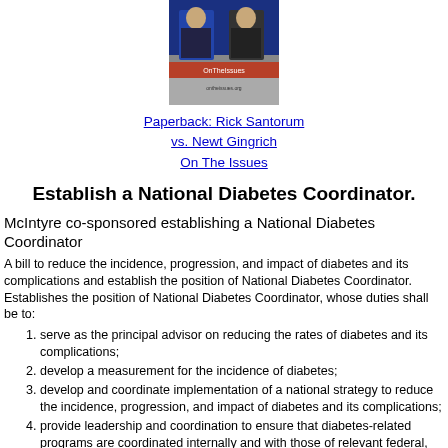[Figure (photo): Photo of two people on a CNN debate stage, with OnTheIssues branding overlay]
Paperback: Rick Santorum vs. Newt Gingrich On The Issues
Establish a National Diabetes Coordinator.
McIntyre co-sponsored establishing a National Diabetes Coordinator
A bill to reduce the incidence, progression, and impact of diabetes and its complications and establish the position of National Diabetes Coordinator. Establishes the position of National Diabetes Coordinator, whose duties shall be to:
serve as the principal advisor on reducing the rates of diabetes and its complications;
develop a measurement for the incidence of diabetes;
develop and coordinate implementation of a national strategy to reduce the incidence, progression, and impact of diabetes and its complications;
provide leadership and coordination to ensure that diabetes-related programs are coordinated internally and with those of relevant federal, state, and local agencies with a goal of avoiding duplication of effort, maximizing impact, and marshaling all government resources; and
coordinate public and private resources to develop and lead a public awareness campaign regarding the prevention and control of diabetes and its complications.